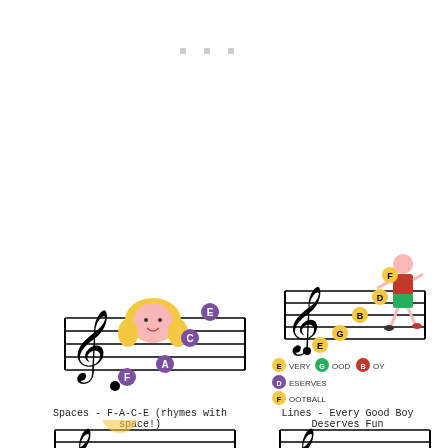[Figure (illustration): Music staff with treble clef and a girl character, labeled with FACE space notes in purple circles]
Spaces - F-A-C-E (rhymes with space!)
[Figure (illustration): Music staff with treble clef and a boy kicking a football, labeled with EGBDF line notes in yellow circles, and text EVERY GOOD BOY DESERVES FOOTBALL]
Lines - Every Good Boy Deserves Fun
[Figure (illustration): Music staff with treble clef and a cow character, partially visible at bottom]
[Figure (illustration): Music staff with treble clef, partially visible at bottom right]